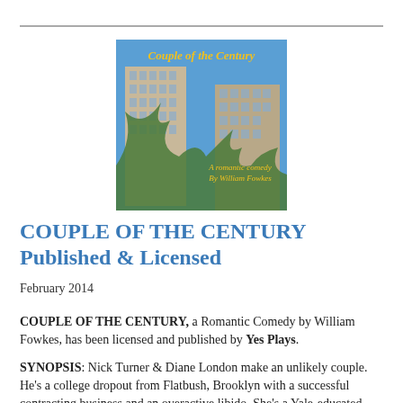[Figure (illustration): Book cover image for 'Couple of the Century' showing two tall Manhattan-style buildings against a blue sky, with the title in yellow serif text at the top and 'A romantic comedy By William Fowkes' in italic yellow text at the bottom right.]
COUPLE OF THE CENTURY Published & Licensed
February 2014
COUPLE OF THE CENTURY, a Romantic Comedy by William Fowkes, has been licensed and published by Yes Plays.
SYNOPSIS: Nick Turner & Diane London make an unlikely couple. He's a college dropout from Flatbush, Brooklyn with a successful contracting business and an overactive libido. She's a Yale-educated